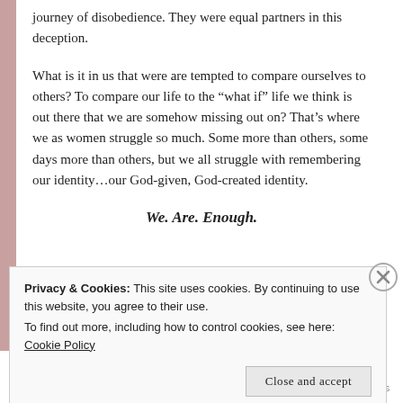journey of disobedience.  They were equal partners in this deception.
What is it in us that were are tempted to compare ourselves to others?  To compare our life to the “what if” life we think is out there that we are somehow missing out on?  That’s where we as women struggle so much.  Some more than others, some days more than others, but we all struggle with remembering our identity…our God-given, God-created identity.
We. Are. Enough.
Privacy & Cookies: This site uses cookies. By continuing to use this website, you agree to their use.
To find out more, including how to control cookies, see here: Cookie Policy